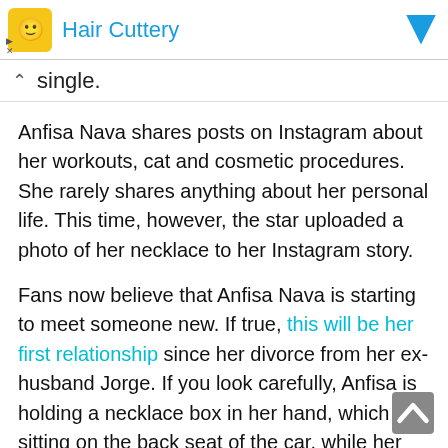[Figure (screenshot): Hair Cuttery advertisement banner with yellow logo icon, blue text title, and blue dropdown arrow]
single.
Anfisa Nava shares posts on Instagram about her workouts, cat and cosmetic procedures. She rarely shares anything about her personal life. This time, however, the star uploaded a photo of her necklace to her Instagram story.
Fans now believe that Anfisa Nava is starting to meet someone new. If true, this will be her first relationship since her divorce from her ex-husband Jorge. If you look carefully, Anfisa is holding a necklace box in her hand, which is sitting on the back seat of the car, while her husband's hand can be seen on the front